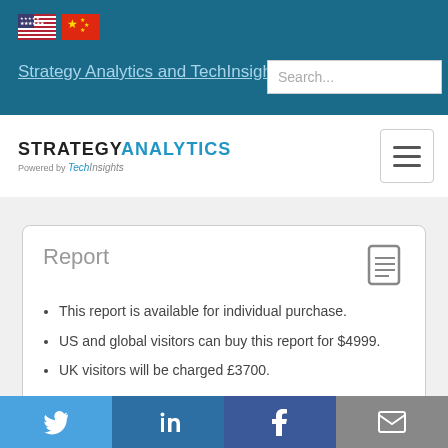Strategy Analytics and TechInsights
[Figure (logo): Strategy Analytics powered by TechInsights logo with hamburger menu]
Report
This report is available for individual purchase.
US and global visitors can buy this report for $4999.
UK visitors will be charged £3700.
Analyst briefing